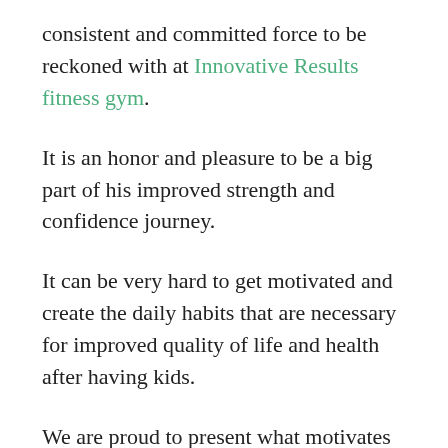consistent and committed force to be reckoned with at Innovative Results fitness gym.
It is an honor and pleasure to be a big part of his improved strength and confidence journey.
It can be very hard to get motivated and create the daily habits that are necessary for improved quality of life and health after having kids.
We are proud to present what motivates Jeff Yoo to keep coming back to Innovative